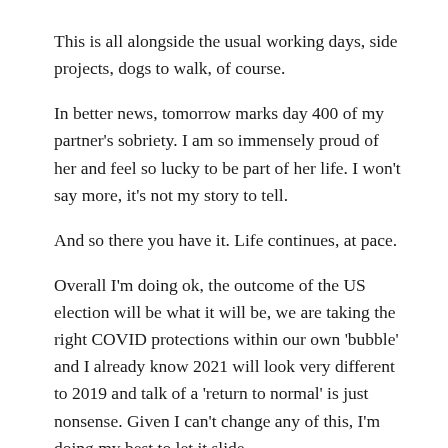This is all alongside the usual working days, side projects, dogs to walk, of course.
In better news, tomorrow marks day 400 of my partner's sobriety. I am so immensely proud of her and feel so lucky to be part of her life. I won't say more, it's not my story to tell.
And so there you have it. Life continues, at pace.
Overall I'm doing ok, the outcome of the US election will be what it will be, we are taking the right COVID protections within our own 'bubble' and I already know 2021 will look very different to 2019 and talk of a 'return to normal' is just nonsense. Given I can't change any of this, I'm doing my best to let it slide.